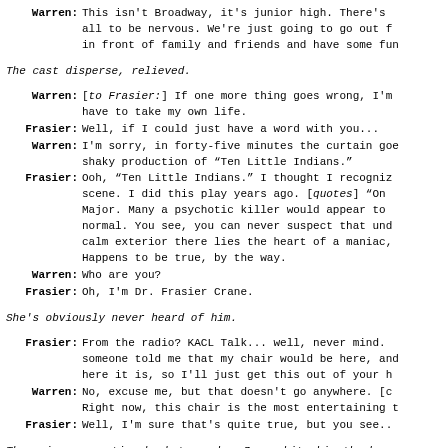Warren: This isn't Broadway, it's junior high. There's all to be nervous. We're just going to go out in front of family and friends and have some fun.
The cast disperse, relieved.
Warren: [to Frasier:] If one more thing goes wrong, I'm going to have to take my own life.
Frasier: Well, if I could just have a word with you...
Warren: I'm sorry, in forty-five minutes the curtain goes up on my shaky production of "Ten Little Indians."
Frasier: Ooh, "Ten Little Indians." I thought I recognized the scene. I did this play years ago. [quotes] "On the Major. Many a psychotic killer would appear to be perfectly normal. You see, you can never suspect that under a calm exterior there lies the heart of a maniac," Happens to be true, by the way.
Warren: Who are you?
Frasier: Oh, I'm Dr. Frasier Crane.
She's obviously never heard of him.
Frasier: From the radio? KACL Talk... well, never mind. someone told me that my chair would be here, and here it is, so I'll just get this out of your h
Warren: No, excuse me, but that doesn't go anywhere. [co Right now, this chair is the most entertaining t
Frasier: Well, I'm sure that's quite true, but you see..
There is a commotion backstage when Brown hits his thumb